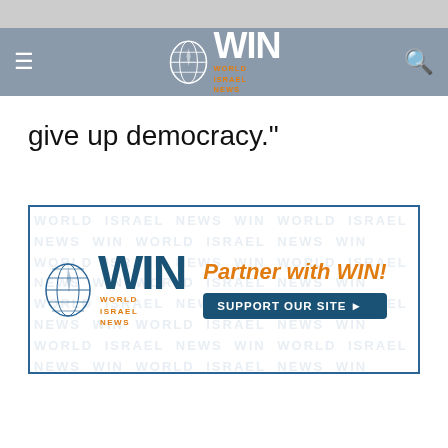WIN World Israel News navigation bar
give up democracy."
[Figure (screenshot): World Israel News (WIN) advertisement banner: blue globe logo, WIN WORLD ISRAEL NEWS logo in blue, 'Partner with WIN!' in orange, 'SUPPORT OUR SITE ▶' button in dark blue, watermark repeating WIN branding in background]